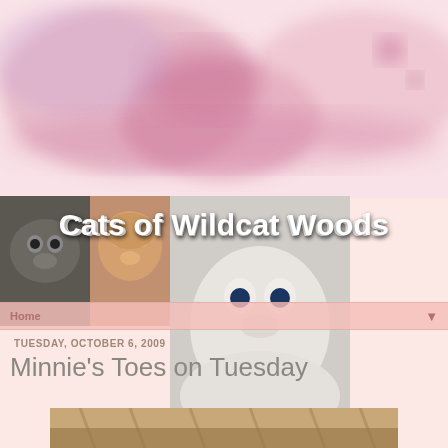[Figure (illustration): Pink and mauve watercolor paint splashes forming abstract background at the top of the page]
[Figure (photo): Collage of multiple cat photos forming a banner. Top row shows various cats including tabbies, white cats, and dark cats. Bottom row shows black cat, grey tabby, cream/white kitten, black cat in box, and small white cat face. Text overlay reads 'Cats of Wildcat Woods']
Cats of Wildcat Woods
Home ▼
TUESDAY, OCTOBER 6, 2009
Minnie's Toes on Tuesday
[Figure (photo): Partial photo of a cat, showing fur, at the bottom of the page]